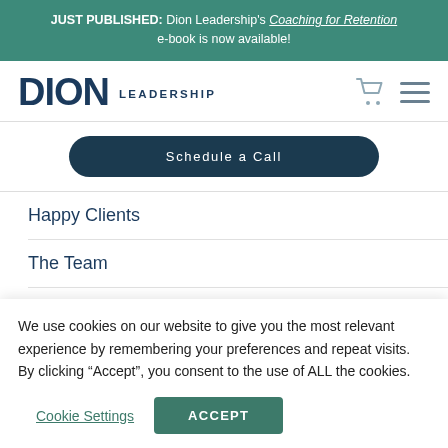JUST PUBLISHED: Dion Leadership's Coaching for Retention e-book is now available!
[Figure (logo): DION LEADERSHIP logo with shopping cart and hamburger menu icons]
Schedule a Call
Happy Clients
The Team
Privacy Policy
Terms and Conditions
We use cookies on our website to give you the most relevant experience by remembering your preferences and repeat visits. By clicking “Accept”, you consent to the use of ALL the cookies.
Cookie Settings   ACCEPT